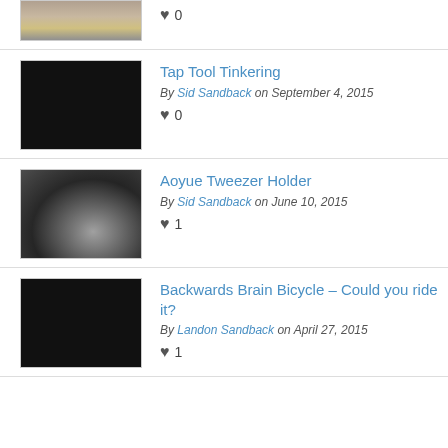[Figure (photo): Partial thumbnail of a workshop/project photo at top]
0 likes
[Figure (photo): Black thumbnail for Tap Tool Tinkering post]
Tap Tool Tinkering
By Sid Sandback on September 4, 2015
0 likes
[Figure (photo): Photo of hands working with electronics/soldering tools]
Aoyue Tweezer Holder
By Sid Sandback on June 10, 2015
1 like
[Figure (photo): Black thumbnail for Backwards Brain Bicycle post]
Backwards Brain Bicycle – Could you ride it?
By Landon Sandback on April 27, 2015
1 like